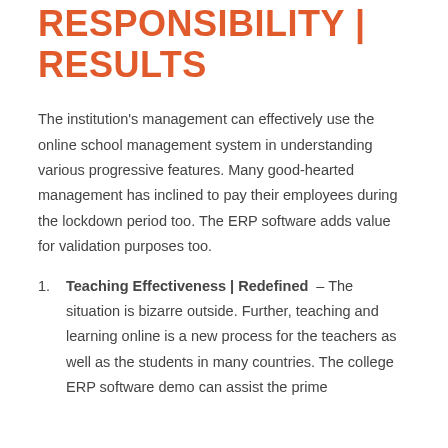RESPONSIBILITY | RESULTS
The institution's management can effectively use the online school management system in understanding various progressive features. Many good-hearted management has inclined to pay their employees during the lockdown period too. The ERP software adds value for validation purposes too.
Teaching Effectiveness | Redefined – The situation is bizarre outside. Further, teaching and learning online is a new process for the teachers as well as the students in many countries. The college ERP software demo can assist the prime